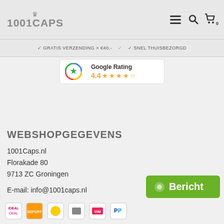[Figure (logo): 1001CAPS logo with crown icon]
[Figure (infographic): Hamburger menu icon, search icon, and shopping cart icon with 0 badge]
✓ GRATIS VERZENDING > €40,-   ✓ SNEL THUISBEZORGD
[Figure (infographic): Google Rating badge showing 4.4 stars with orange star icons]
WEBSHOPGEGEVENS
1001Caps.nl
Florakade 80
9713 ZC Groningen
E-mail: info@1001caps.nl
[Figure (infographic): Green Bericht (message/chat) button with chat bubble icon]
[Figure (infographic): Payment method icons: iDEAL, Sofort, various payment logos, PayPal]